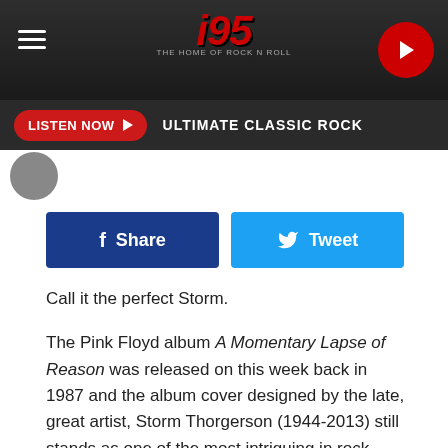[Figure (screenshot): i95 The Home of Rock n Roll radio station header logo on dark background with hamburger menu and play button]
LISTEN NOW  ULTIMATE CLASSIC ROCK
[Figure (other): Partial avatar/profile image circle]
[Figure (other): Facebook Share button and Twitter Tweet button]
Call it the perfect Storm.
The Pink Floyd album A Momentary Lapse of Reason was released on this week back in 1987 and the album cover designed by the late, great artist, Storm Thorgerson (1944-2013) still stands as one of the most intriguing in rock history.
What makes it even more fascinating is the story behind it. In a time when the images we see can easily be made to look